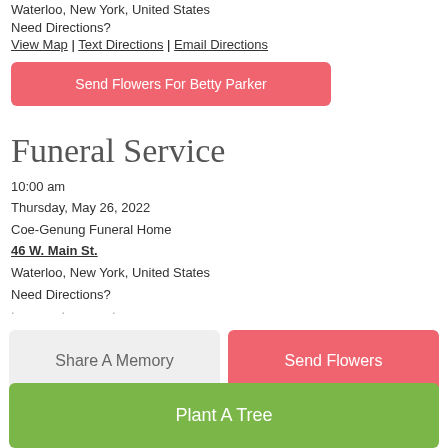Waterloo, New York, United States
Need Directions?
View Map | Text Directions | Email Directions
Send Flowers For Betty Parker
Funeral Service
10:00 am
Thursday, May 26, 2022
Coe-Genung Funeral Home
46 W. Main St.
Waterloo, New York, United States
Need Directions?
Share A Memory
Send Flowers
Plant A Tree